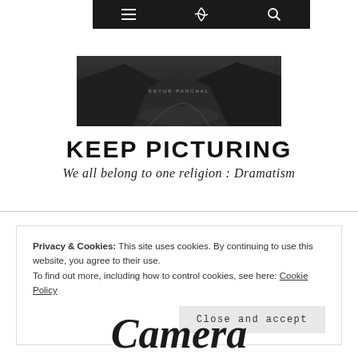Navigation bar with menu, logo, and search icons
[Figure (photo): Dark moody black and white mountain landscape with a winding road in a valley, watermarked 'KEYUR PANCHAL' in the center]
KEEP PICTURING
We all belong to one religion : Dramatism
Privacy & Cookies: This site uses cookies. By continuing to use this website, you agree to their use.
To find out more, including how to control cookies, see here: Cookie Policy
[Close and accept]
Camera